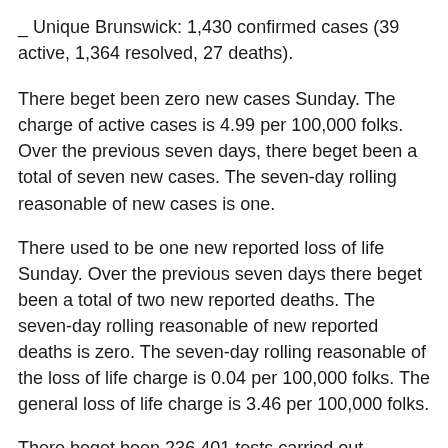_ Unique Brunswick: 1,430 confirmed cases (39 active, 1,364 resolved, 27 deaths).
There beget been zero new cases Sunday. The charge of active cases is 4.99 per 100,000 folks. Over the previous seven days, there beget been a total of seven new cases. The seven-day rolling reasonable of new cases is one.
There used to be one new reported loss of life Sunday. Over the previous seven days there beget been a total of two new reported deaths. The seven-day rolling reasonable of new reported deaths is zero. The seven-day rolling reasonable of the loss of life charge is 0.04 per 100,000 folks. The general loss of life charge is 3.46 per 100,000 folks.
There beget been 236,401 tests carried out.
_ Quebec: 287,740 confirmed cases (7,817 active, 269,530 resolved, 10,393 deaths).